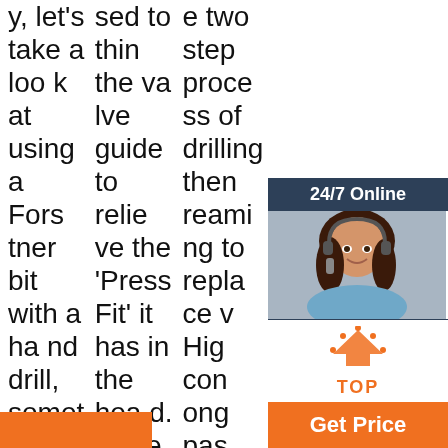y, let's take a look at using a Forstner bit with a hand drill, something that can be a bit more tricky. Step 1: Place Backing. In most cases where a hand drill must be used in conjunction with a Forstner bit, a user's targeted surface is already 'in place.'
sed to thin the valve guide to relieve the 'Press Fit' it has in the head. Once this is done, the valve guide easily taps out WITHOUT HEAD CASTING DAMAGE, so you can put a new guide in! Always drive the valve guide TOWARDS THE CHAMBER, not towards the val
e two step process of drilling then reaming to replace v High con ong pas valv to 1 tting OD valve guide inserts.
[Figure (photo): Customer service representative widget with '24/7 Online' header, photo of smiling woman with headset, 'Click here for free chat!' text, and QUOTATION button]
[Figure (other): TOP arrow icon with orange upward triangle and 'TOP' text label]
[Figure (other): Get Price orange button]